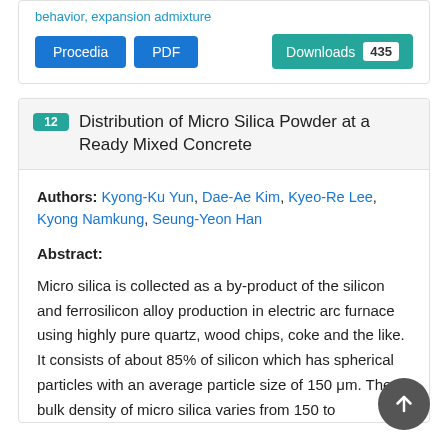behavior, expansion admixture
Procedia | PDF | Downloads 435
12 Distribution of Micro Silica Powder at a Ready Mixed Concrete
Authors: Kyong-Ku Yun, Dae-Ae Kim, Kyeo-Re Lee, Kyong Namkung, Seung-Yeon Han
Abstract:
Micro silica is collected as a by-product of the silicon and ferrosilicon alloy production in electric arc furnace using highly pure quartz, wood chips, coke and the like. It consists of about 85% of silicon which has spherical particles with an average particle size of 150 μm. The bulk density of micro silica varies from 150 to